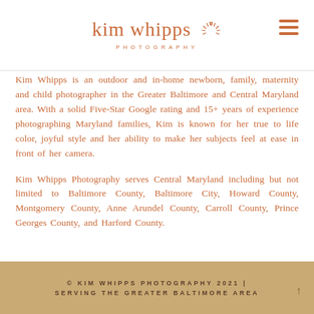kim whipps PHOTOGRAPHY
Kim Whipps is an outdoor and in-home newborn, family, maternity and child photographer in the Greater Baltimore and Central Maryland area. With a solid Five-Star Google rating and 15+ years of experience photographing Maryland families, Kim is known for her true to life color, joyful style and her ability to make her subjects feel at ease in front of her camera.
Kim Whipps Photography serves Central Maryland including but not limited to Baltimore County, Baltimore City, Howard County, Montgomery County, Anne Arundel County, Carroll County, Prince Georges County, and Harford County.
© KIM WHIPPS PHOTOGRAPHY 2021 | SERVING THE GREATER BALTIMORE AREA